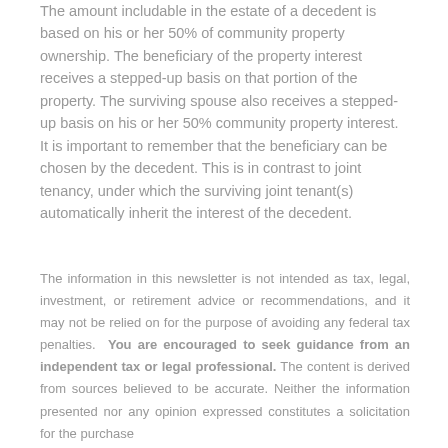The amount includable in the estate of a decedent is based on his or her 50% of community property ownership. The beneficiary of the property interest receives a stepped-up basis on that portion of the property. The surviving spouse also receives a stepped-up basis on his or her 50% community property interest. It is important to remember that the beneficiary can be chosen by the decedent. This is in contrast to joint tenancy, under which the surviving joint tenant(s) automatically inherit the interest of the decedent.
The information in this newsletter is not intended as tax, legal, investment, or retirement advice or recommendations, and it may not be relied on for the purpose of avoiding any federal tax penalties. You are encouraged to seek guidance from an independent tax or legal professional. The content is derived from sources believed to be accurate. Neither the information presented nor any opinion expressed constitutes a solicitation for the purchase